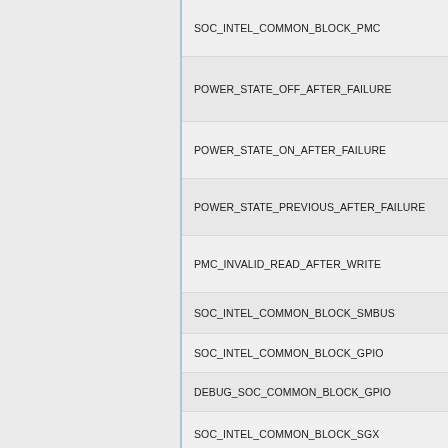SOC_INTEL_COMMON_BLOCK_PMC
POWER_STATE_OFF_AFTER_FAILURE
POWER_STATE_ON_AFTER_FAILURE
POWER_STATE_PREVIOUS_AFTER_FAILURE
PMC_INVALID_READ_AFTER_WRITE
SOC_INTEL_COMMON_BLOCK_SMBUS
SOC_INTEL_COMMON_BLOCK_GPIO
DEBUG_SOC_COMMON_BLOCK_GPIO
SOC_INTEL_COMMON_BLOCK_SGX